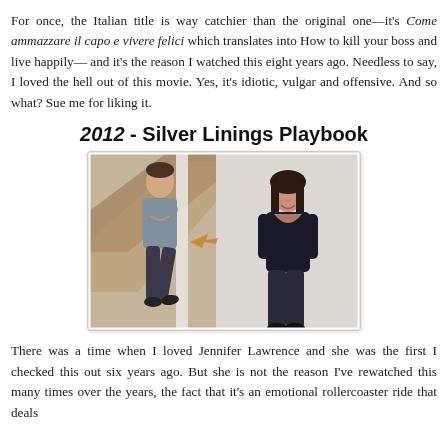For once, the Italian title is way catchier than the original one—it's Come ammazzare il capo e vivere felici which translates into How to kill your boss and live happily— and it's the reason I watched this eight years ago. Needless to say, I loved the hell out of this movie. Yes, it's idiotic, vulgar and offensive. And so what? Sue me for liking it.
2012 - Silver Linings Playbook
[Figure (photo): A man in a grey t-shirt and a woman in a black top, appearing to be from the movie Silver Linings Playbook]
There was a time when I loved Jennifer Lawrence and she was the first I checked this out six years ago. But she is not the reason I've rewatched this many times over the years, the fact that it's an emotional rollercoaster ride that deals